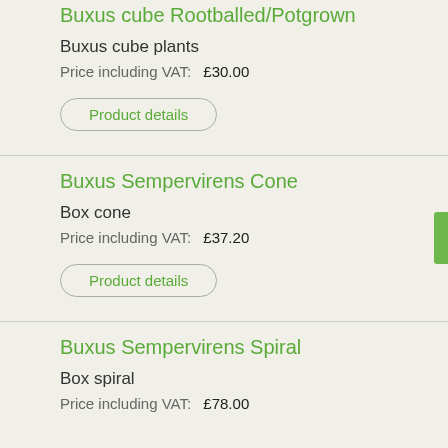Buxus cube Rootballed/Potgrown
Buxus cube plants
Price including VAT: £30.00
Product details
Buxus Sempervirens Cone
Box cone
Price including VAT: £37.20
Product details
Buxus Sempervirens Spiral
Box spiral
Price including VAT: £78.00